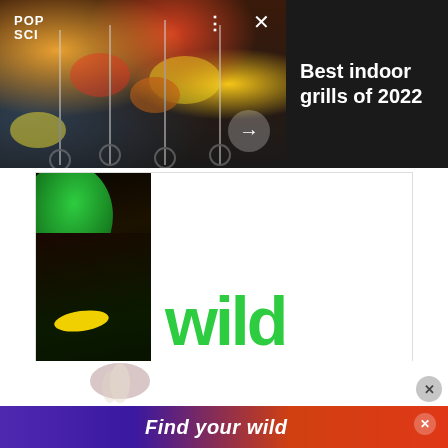[Figure (screenshot): Pop Sci notification card showing grilled food skewers with text 'Best indoor grills of 2022' on dark background]
[Figure (illustration): re:wild advertisement banner showing colorful bird with green leaf and large green 'wild' text with re:wild logo]
[Figure (screenshot): Bottom ad strip with purple-to-orange gradient showing 'Find your wild' text with mushroom imagery]